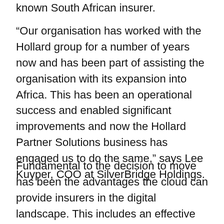known South African insurer.
“Our organisation has worked with the Hollard group for a number of years now and has been part of assisting the organisation with its expansion into Africa. This has been an operational success and enabled significant improvements and now the Hollard Partner Solutions business has engaged us to do the same,” says Lee Kuyper, COO at SilverBridge Holdings.
Fundamental to the decision to move has been the advantages the cloud can provide insurers in the digital landscape. This includes an effective environment to test and deploy new technologies, enabling insurers to innovative quicker in a highly competitive environment.